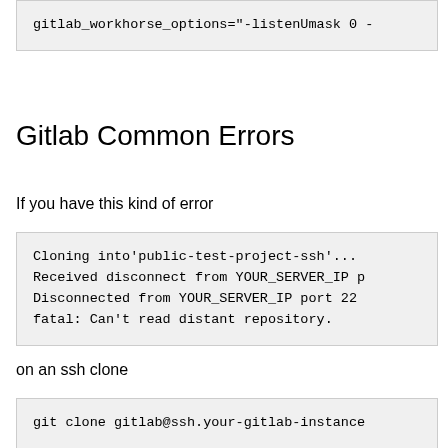gitlab_workhorse_options="-listenUmask 0 -
Gitlab Common Errors
If you have this kind of error
Cloning into'public-test-project-ssh'...
Received disconnect from YOUR_SERVER_IP p
Disconnected from YOUR_SERVER_IP port 22
fatal: Can't read distant repository.
on an ssh clone
git clone gitlab@ssh.your-gitlab-instance